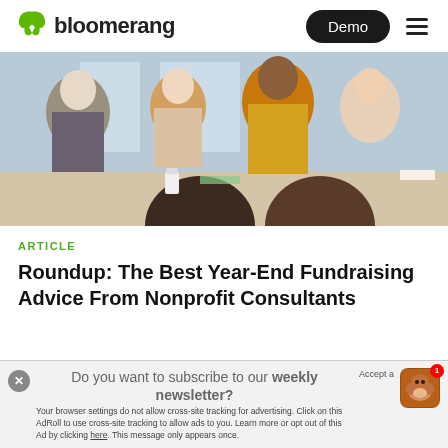bloomerang | Demo
[Figure (photo): Group of diverse women sitting around a conference table in a meeting, smiling and engaging in conversation. A woman in a yellow jacket is prominently visible in the center.]
ARTICLE
Roundup: The Best Year-End Fundraising Advice From Nonprofit Consultants
Do you want to subscribe to our weekly newsletter?
Your browser settings do not allow cross-site tracking for advertising. Click on this AdRoll to use cross-site tracking to allow ads to you. Learn more or opt out of this Ad by clicking here. This message only appears once.